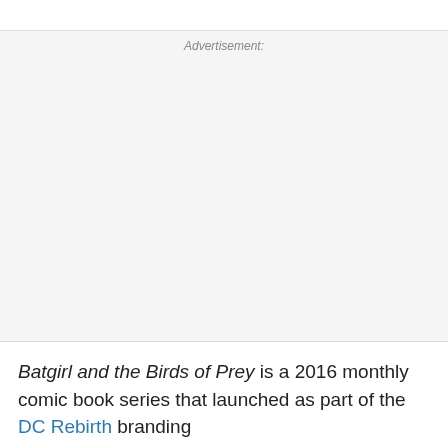Advertisement:
Batgirl and the Birds of Prey is a 2016 monthly comic book series that launched as part of the DC Rebirth branding